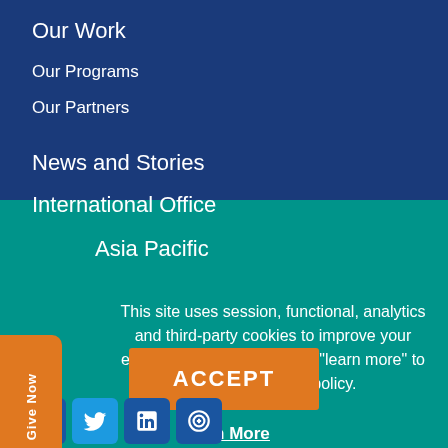Our Work
Our Programs
Our Partners
News and Stories
International Office
Asia Pacific
This site uses session, functional, analytics and third-party cookies to improve your experience. Please click on "learn more" to read our cookies policy.
ACCEPT
Learn More